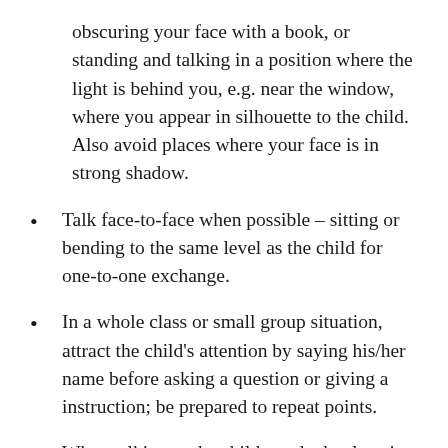obscuring your face with a book, or standing and talking in a position where the light is behind you, e.g. near the window, where you appear in silhouette to the child. Also avoid places where your face is in strong shadow.
Talk face-to-face when possible – sitting or bending to the same level as the child for one-to-one exchange.
In a whole class or small group situation, attract the child's attention by saying his/her name before asking a question or giving a instruction; be prepared to repeat points.
When talking to the child speak clearly using a normal voice at normal speed. It does not help to try to emphasise your lip-patterns or to raise your voice, but use gesture to.